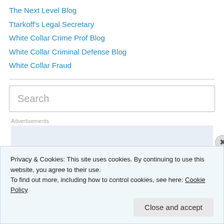The Next Level Blog
Ttarkoff's Legal Secretary
White Collar Crime Prof Blog
White Collar Criminal Defense Blog
White Collar Fraud
Search
Advertisements
Privacy & Cookies: This site uses cookies. By continuing to use this website, you agree to their use.
To find out more, including how to control cookies, see here: Cookie Policy
Close and accept